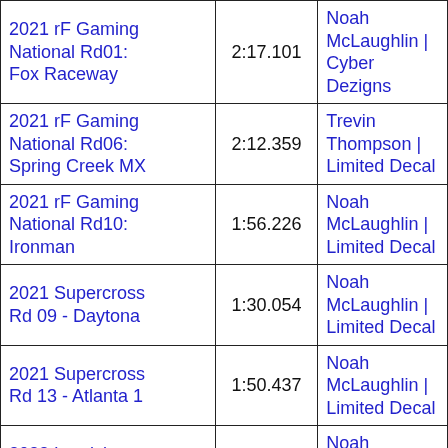| Event | Time | Rider | Team |
| --- | --- | --- |
| 2021 rF Gaming National Rd01: Fox Raceway | 2:17.101 | Noah McLaughlin | Cyber Dezigns |
| 2021 rF Gaming National Rd06: Spring Creek MX | 2:12.359 | Trevin Thompson | Limited Decal |
| 2021 rF Gaming National Rd10: Ironman | 1:56.226 | Noah McLaughlin | Limited Decal |
| 2021 Supercross Rd 09 - Daytona | 1:30.054 | Noah McLaughlin | Limited Decal |
| 2021 Supercross Rd 13 - Atlanta 1 | 1:50.437 | Noah McLaughlin | Limited Decal |
| 2022 Landskrona Saxtorp | 2:08.304 | Noah McLaughlin | Privateer |
| 2022 rF Gaming GP Rd06: Kegums | 2:01.484 | Trevin Thompson | The L.W.G |
| 2022 Supercross ... |  | Noah ... |